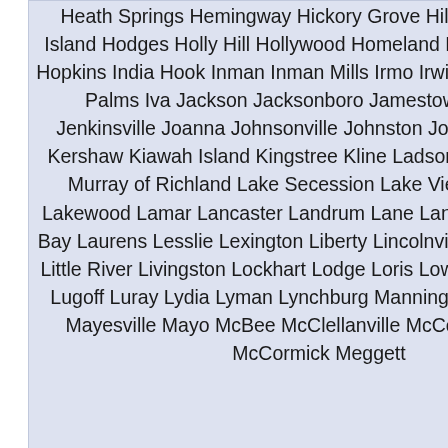Heath Springs Hemingway Hickory Grove Hilda Hilton Head Island Hodges Holly Hill Hollywood Homeland Park Honea Path Hopkins India Hook Inman Inman Mills Irmo Irwin Islandton Isle of Palms Iva Jackson Jacksonboro Jamestown Jefferson Jenkinsville Joanna Johnsonville Johnston Jonesville Judson Kershaw Kiawah Island Kingstree Kline Ladson Lake City Lake Murray of Richland Lake Secession Lake View Lake Wylie Lakewood Lamar Lancaster Landrum Lane Langley Latta Laurel Bay Laurens Lesslie Lexington Liberty Lincolnville Little Mountain Little River Livingston Lockhart Lodge Loris Lowndesville Lowrys Lugoff Luray Lydia Lyman Lynchburg Manning Marion Mauldin Mayesville Mayo McBee McClellanville McColl McConnells McCormick Meggett